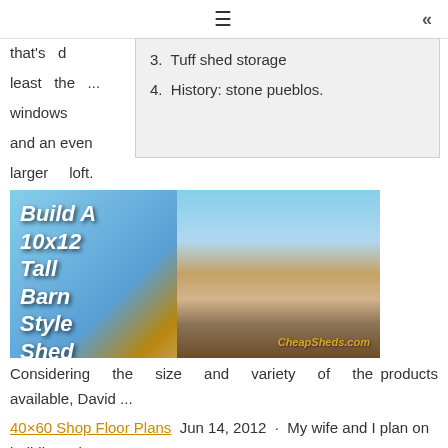≡  «
3. Tuff shed storage
4. History: stone pueblos.
that's ... at least the ... windows and an even larger loft.
[Figure (photo): Promotional photo of a 10x12 Tall Barn Style Shed with text overlay: Build A 10x12 Tall Barn Style Shed. Watermark: CheapSheds.com]
Considering the size and variety of the products available, David ...
40×60 Shop Floor Plans  Jun 14, 2012 · My wife and I plan on building a house next